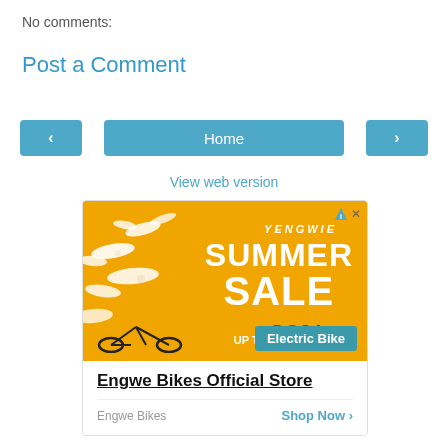No comments:
Post a Comment
< Home >
View web version
[Figure (other): Advertisement for Engwe Bikes Official Store — Summer Sale up to 39% off Electric Bike, with seagulls on golden background. Bottom section shows store name, brand 'Engwe Bikes', and 'Shop Now >' link.]